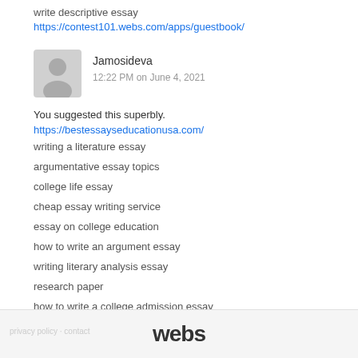write descriptive essay
https://contest101.webs.com/apps/guestbook/
Jamosideva
12:22 PM on June 4, 2021
You suggested this superbly.
https://bestessayseducationusa.com/
writing a literature essay
argumentative essay topics
college life essay
cheap essay writing service
essay on college education
how to write an argument essay
writing literary analysis essay
research paper
how to write a college admission essay
essay writings
where can i pay someone to write my essay
webs